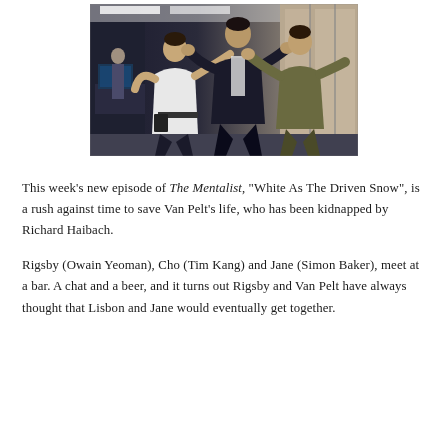[Figure (photo): A fight scene from The Mentalist TV show. Three men are shown mid-altercation in what appears to be an office setting. One man in a white shirt is grappling with two others — one in a dark jacket and one in an olive/khaki jacket — near glass windows. Office equipment visible in the background.]
This week's new episode of The Mentalist, "White As The Driven Snow", is a rush against time to save Van Pelt's life, who has been kidnapped by Richard Haibach.
Rigsby (Owain Yeoman), Cho (Tim Kang) and Jane (Simon Baker), meet at a bar. A chat and a beer, and it turns out Rigsby and Van Pelt have always thought that Lisbon and Jane would eventually get together.